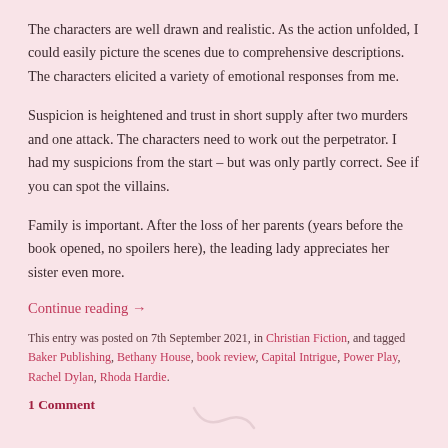The characters are well drawn and realistic. As the action unfolded, I could easily picture the scenes due to comprehensive descriptions. The characters elicited a variety of emotional responses from me.
Suspicion is heightened and trust in short supply after two murders and one attack. The characters need to work out the perpetrator. I had my suspicions from the start – but was only partly correct. See if you can spot the villains.
Family is important. After the loss of her parents (years before the book opened, no spoilers here), the leading lady appreciates her sister even more.
Continue reading →
This entry was posted on 7th September 2021, in Christian Fiction, and tagged Baker Publishing, Bethany House, book review, Capital Intrigue, Power Play, Rachel Dylan, Rhoda Hardie.
1 Comment